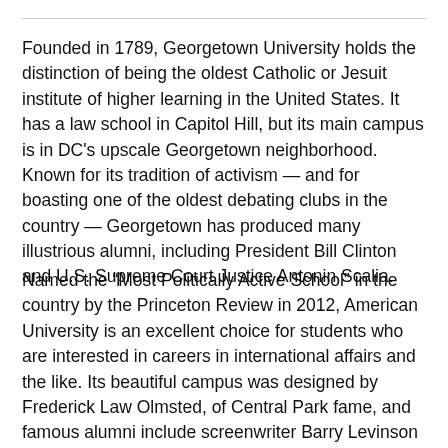Founded in 1789, Georgetown University holds the distinction of being the oldest Catholic or Jesuit institute of higher learning in the United States. It has a law school in Capitol Hill, but its main campus is in DC's upscale Georgetown neighborhood. Known for its tradition of activism — and for boasting one of the oldest debating clubs in the country — Georgetown has produced many illustrious alumni, including President Bill Clinton and U.S. Supreme Court Justice Antonin Scalia.
Named the “Most Politically Active School” in the country by the Princeton Review in 2012, American University is an excellent choice for students who are interested in careers in international affairs and the like. Its beautiful campus was designed by Frederick Law Olmsted, of Central Park fame, and famous alumni include screenwriter Barry Levinson and David Gregory of Meet the Press, so you will be in excellent